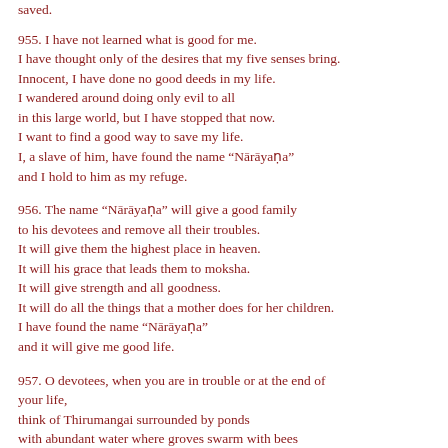saved.
955. I have not learned what is good for me.
I have thought only of the desires that my five senses bring.
Innocent, I have done no good deeds in my life.
I wandered around doing only evil to all
in this large world, but I have stopped that now.
I want to find a good way to save my life.
I, a slave of him, have found the name “Nārāyaṇa”
and I hold to him as my refuge.
956. The name “Nārāyaṇa” will give a good family
to his devotees and remove all their troubles.
It will give them the highest place in heaven.
It will his grace that leads them to moksha.
It will give strength and all goodness.
It will do all the things that a mother does for her children.
I have found the name “Nārāyaṇa”
and it will give me good life.
957. O devotees, when you are in trouble or at the end of your life,
think of Thirumangai surrounded by ponds
with abundant water where groves swarm with bees
and clouds float above the tall trees